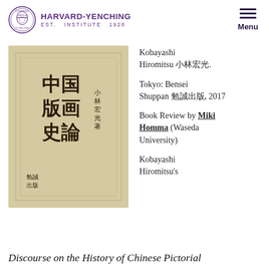HARVARD-YENCHING INSTITUTE | Menu
[Figure (photo): Book cover of 中国版画史論 (Discourse on the History of Chinese Pictorial) by 小林宏光 (Kobayashi Hiromitsu), published by 勉誠出版 (Bensei Shuppan). Tan/beige cover with Chinese characters.]
Kobayashi Hiromitsu 小林宏光.
Tokyo: Bensei Shuppan 勉誠出版, 2017
Book Review by Miki Homma (Waseda University)
Kobayashi Hiromitsu's
Discourse on the History of Chinese Pictorial